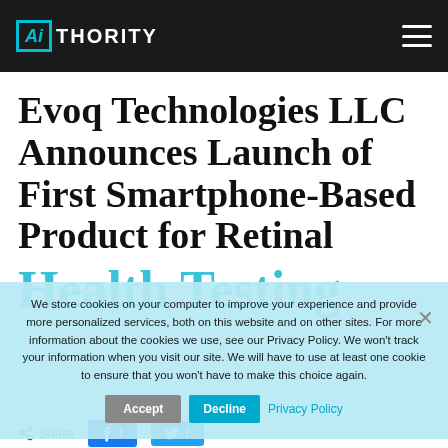AIthority
Evoq Technologies LLC Announces Launch of First Smartphone-Based Product for Retinal Health Testing
We store cookies on your computer to improve your experience and provide more personalized services, both on this website and on other sites. For more information about the cookies we use, see our Privacy Policy. We won't track your information when you visit our site. We will have to use at least one cookie to ensure that you won't have to make this choice again.
By AIT News Desk  |  Nov 21, 2021
Share